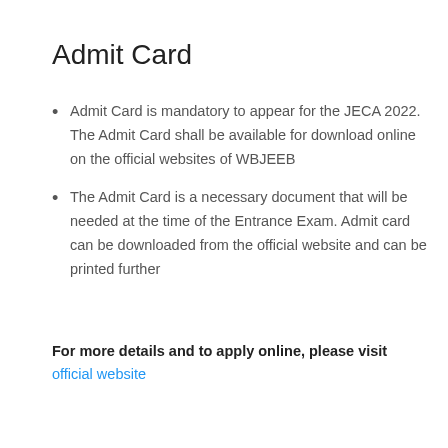Admit Card
Admit Card is mandatory to appear for the JECA 2022. The Admit Card shall be available for download online on the official websites of WBJEEB
The Admit Card is a necessary document that will be needed at the time of the Entrance Exam. Admit card can be downloaded from the official website and can be printed further
For more details and to apply online, please visit official website